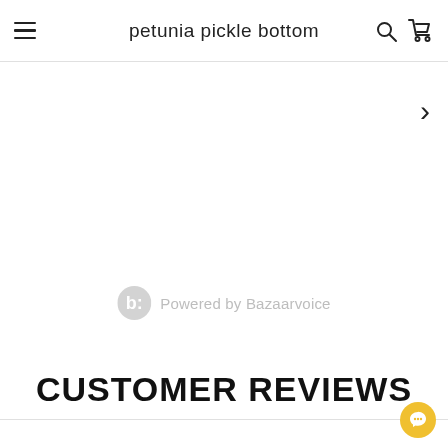petunia pickle bottom
[Figure (other): Right arrow chevron navigation button]
[Figure (logo): Powered by Bazaarvoice watermark logo with text]
CUSTOMER REVIEWS